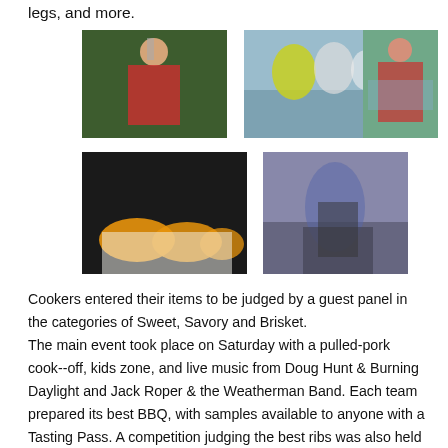legs, and more.
[Figure (photo): Man in red shirt playing guitar at a microphone outdoors]
[Figure (photo): People gathered around a table or cooking area, one wearing yellow]
[Figure (photo): Drummer performing on stage with drum kit]
[Figure (photo): BBQ sandwiches/sliders on a white plate with dark background]
[Figure (photo): Person tending a smoker/grill outdoors with smoke visible]
Cookers entered their items to be judged by a guest panel in the categories of Sweet, Savory and Brisket.
The main event took place on Saturday with a pulled-pork cook--off, kids zone, and live music from Doug Hunt & Burning Daylight and Jack Roper & the Weatherman Band. Each team prepared its best BBQ, with samples available to anyone with a Tasting Pass. A competition judging the best ribs was also held alongside the main cook-off. The SCBA judged the pork and ribs, and those